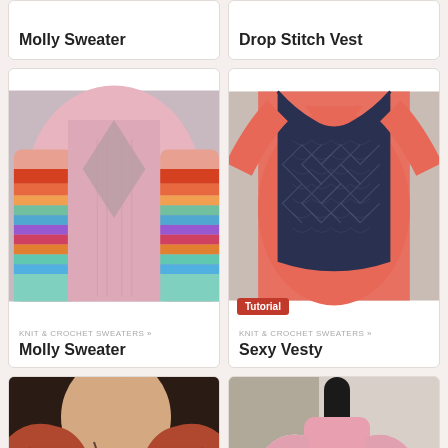[Figure (photo): Partial card showing 'Molly Sweater' title at top, cut off]
Molly Sweater
[Figure (photo): Partial card showing 'Drop Stitch Vest' title at top, cut off]
Drop Stitch Vest
[Figure (photo): Photo of pink and multicolor striped crochet cardigan sweater laid flat]
KNIT & CROCHET SWEATERS »
Molly Sweater
[Figure (photo): Photo of woman wearing dark navy blue crochet vest over coral/pink top, with Tutorial badge]
Tutorial
KNIT & CROCHET SWEATERS »
Sexy Vesty
[Figure (photo): Partial photo of woman wearing rust/orange crochet shrug bolero with necklace, cropped at bottom]
[Figure (photo): Partial photo of white and pink crochet open-back shrug on a mannequin, cropped at bottom]